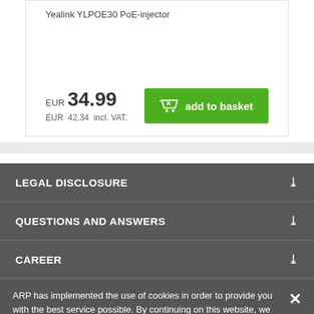Yealink YLPOE30 PoE-injector
EUR 34.99
EUR 42.34 incl. VAT.
LEGAL DISCLOSURE
QUESTIONS AND ANSWERS
CAREER
ARP has implemented the use of cookies in order to provide you with the best service possible. By continuing on this website, we assume that you agree to our general terms and conditions regarding our use of cookies.